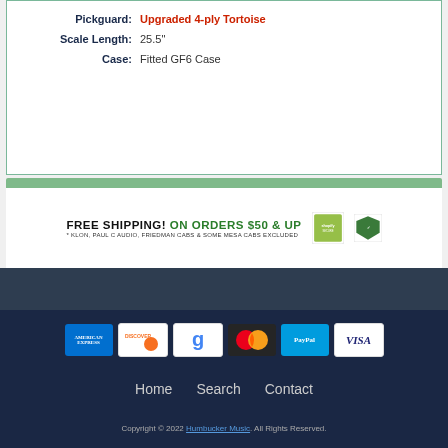| Pickguard: | Upgraded 4-ply Tortoise |
| Scale Length: | 25.5" |
| Case: | Fitted GF6 Case |
[Figure (infographic): Free shipping banner: FREE SHIPPING! ON ORDERS $50 & UP with Shopify and security badges]
[Figure (infographic): Payment method icons: American Express, Discover, Google, MasterCard, PayPal, Visa]
Home   Search   Contact
Copyright © 2022 Humbucker Music. All Rights Reserved.